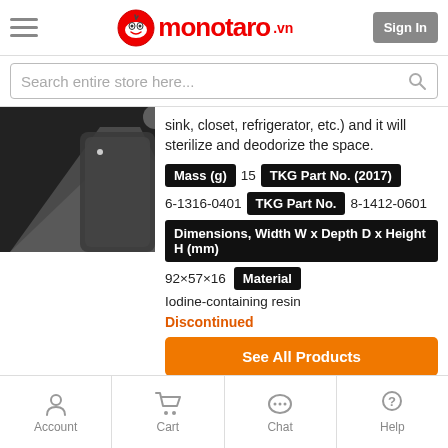monotaro.vn
Search entire store here...
[Figure (photo): Product photo of a dark metallic object on dark background]
sink, closet, refrigerator, etc.) and it will sterilize and deodorize the space.
Mass (g)  15  TKG Part No. (2017)
6-1316-0401  TKG Part No.  8-1412-0601
Dimensions, Width W x Depth D x Height H (mm)
92×57×16  Material
Iodine-containing resin
Discontinued
See All Products
Account  Cart  Chat  Help